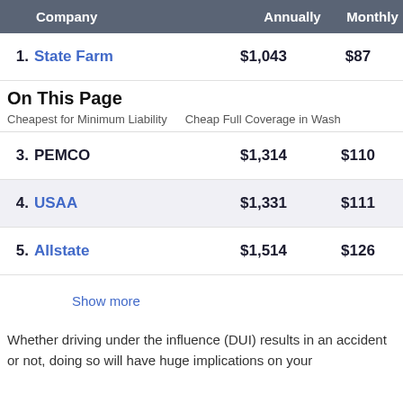| Company | Annually | Monthly |
| --- | --- | --- |
| 1. State Farm | $1,043 | $87 |
| 3. PEMCO | $1,314 | $110 |
| 4. USAA | $1,331 | $111 |
| 5. Allstate | $1,514 | $126 |
On This Page
Cheapest for Minimum Liability   Cheap Full Coverage in Wash
Show more
Whether driving under the influence (DUI) results in an accident or not, doing so will have huge implications on your